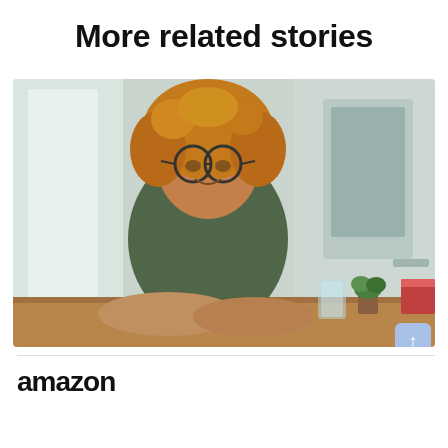More related stories
[Figure (photo): Woman with curly hair and glasses smiling at a desk with a computer monitor, water glass, and small plant in an office setting]
amazon